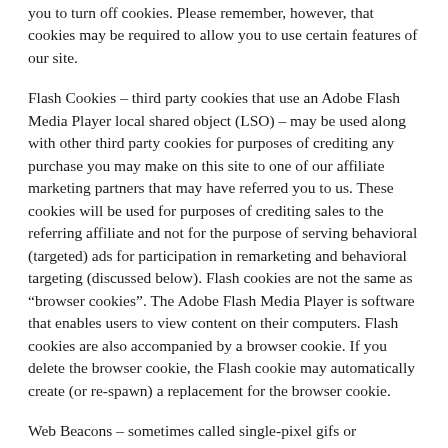you to turn off cookies. Please remember, however, that cookies may be required to allow you to use certain features of our site.
Flash Cookies – third party cookies that use an Adobe Flash Media Player local shared object (LSO) – may be used along with other third party cookies for purposes of crediting any purchase you may make on this site to one of our affiliate marketing partners that may have referred you to us. These cookies will be used for purposes of crediting sales to the referring affiliate and not for the purpose of serving behavioral (targeted) ads for participation in remarketing and behavioral targeting (discussed below). Flash cookies are not the same as "browser cookies". The Adobe Flash Media Player is software that enables users to view content on their computers. Flash cookies are also accompanied by a browser cookie. If you delete the browser cookie, the Flash cookie may automatically create (or re-spawn) a replacement for the browser cookie.
Web Beacons – sometimes called single-pixel gifs or